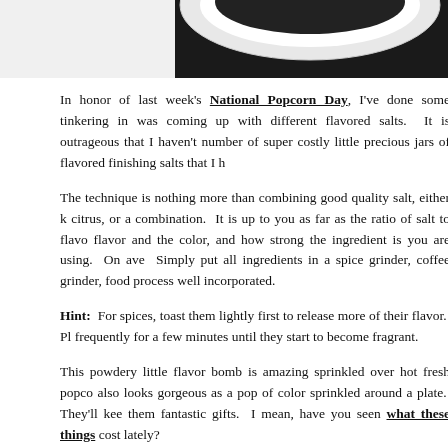[Figure (photo): Top portion of a photo showing what appears to be a bowl or dish, mostly cropped, dark background with white/light ceramic visible]
In honor of last week's National Popcorn Day, I've done some tinkering in was coming up with different flavored salts. It is outrageous that I haven't number of super costly little precious jars of flavored finishing salts that I h
The technique is nothing more than combining good quality salt, either k citrus, or a combination. It is up to you as far as the ratio of salt to flavo flavor and the color, and how strong the ingredient is you are using. On ave Simply put all ingredients in a spice grinder, coffee grinder, food process well incorporated.
Hint: For spices, toast them lightly first to release more of their flavor. Pl frequently for a few minutes until they start to become fragrant.
This powdery little flavor bomb is amazing sprinkled over hot fresh popco also looks gorgeous as a pop of color sprinkled around a plate. They'll kee them fantastic gifts. I mean, have you seen what these things cost lately?
Here are a few ideas below, but the combinations are endless. Keep a yourself using them on everything. Put a few small dishes on your dinner p
CURRY SALT
I used a brilliant french version of an indian masala, called Vadouvan, from on popcorn, but also chicken, fish, roasted vegetables (especially cauliflowe